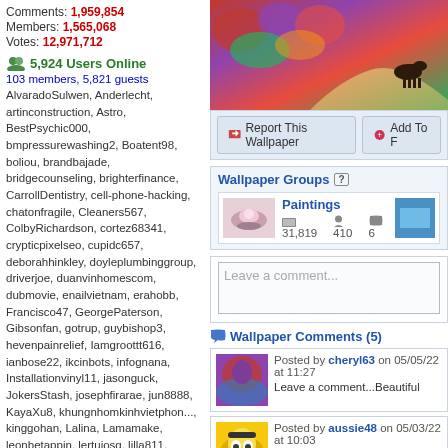Comments: 1,959,854
Members: 1,565,068
Votes: 12,971,712
5,924 Users Online
103 members, 5,821 guests
AlvaradoSulwen, Anderlecht, artinconstruction, Astro, BestPsychic000, bmpressurewashing2, Boatent98, boliou, brandbajade, bridgecounseling, brighterfinance, CarrollDentistry, cell-phone-hacking, chatonfragile, Cleaners567, ColbyRichardson, cortez68341, crypticpixelseo, cupidc657, deborahhinkley, doyleplumbinggroup, driverjoe, duanvinhomescom, dubmovie, enailvietnam, erahobb, Francisco47, GeorgePaterson, Gibsonfan, gotrup, guybishop3, hevenpainrelief, Iamgroottt616, ianbose22, ikcinbots, infognana, Installationvinyl11, jasonguck, JokersStash, josephfirarae, jun8888, KayaXu8, khungnhomkinhvietphon..., kinggohan, Lalina, Lamamake, leonbetappin, lertuiosq, lilla811, lirikmerch, maayash, macthanhvu, marquisbarkley, mayapatil281995, McKinneysTX, mikepaxson, missshweta, mistydaydream1, mod.CG, modzoro, mumtazdental, now888today, phaenic777
[Figure (photo): Colorful painting of a garden/landscape with flowers and a horse]
Report This Wallpaper
Add To F
Wallpaper Groups
[Figure (photo): Thumbnail of Paintings group - teacup with flowers]
Paintings
31,819  410  6
Leave a comment...
Wallpaper Comments (5)
[Figure (photo): Comment avatar - purple flowers]
Posted by cheryl63 on 05/05/22 at 11:27
Leave a comment...Beautiful
[Figure (photo): Comment avatar - yellow minion character]
Posted by aussie48 on 05/03/22 at 10:03